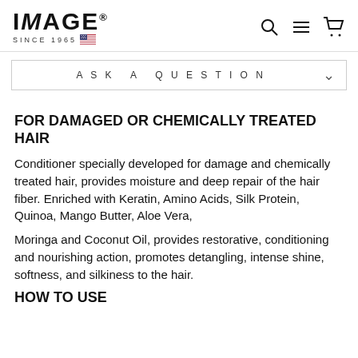[Figure (logo): IMAGE brand logo with text 'IMAGE' in bold black letters and 'SINCE 1965' below with US flag icon]
[Figure (other): Navigation icons: search, hamburger menu, and shopping cart]
ASK A QUESTION
FOR DAMAGED OR CHEMICALLY TREATED HAIR
Conditioner specially developed for damage and chemically treated hair, provides moisture and deep repair of the hair fiber. Enriched with Keratin, Amino Acids, Silk Protein, Quinoa, Mango Butter, Aloe Vera,
Moringa and Coconut Oil, provides restorative, conditioning and nourishing action, promotes detangling, intense shine, softness, and silkiness to the hair.
HOW TO USE